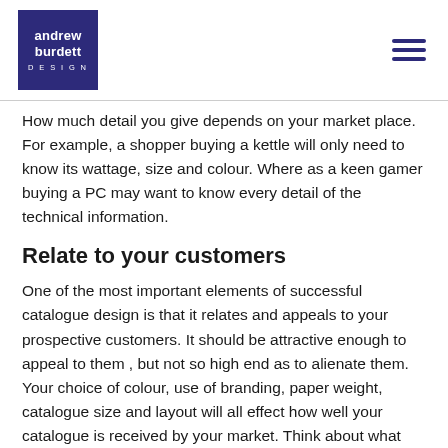[Figure (logo): Andrew Burdett Design logo - white text on dark navy/purple square background]
...y buying. How much detail you give depends on your market place. For example, a shopper buying a kettle will only need to know its wattage, size and colour. Where as a keen gamer buying a PC may want to know every detail of the technical information.
Relate to your customers
One of the most important elements of successful catalogue design is that it relates and appeals to your prospective customers. It should be attractive enough to appeal to them , but not so high end as to alienate them. Your choice of colour, use of branding, paper weight, catalogue size and layout will all effect how well your catalogue is received by your market. Think about what appeals to your customers in your market